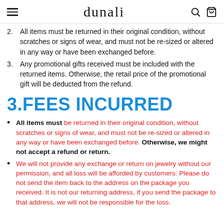dunali
2. All items must be returned in their original condition, without scratches or signs of wear, and must not be re-sized or altered in any way or have been exchanged before.
3. Any promotional gifts received must be included with the returned items. Otherwise, the retail price of the promotional gift will be deducted from the refund.
3.FEES INCURRED
All items must be returned in their original condition, without scratches or signs of wear, and must not be re-sized or altered in any way or have been exchanged before. Otherwise, we might not accept a refund or return.
We will not provide any exchange or return on jewelry without our permission, and all loss will be afforded by customers. Please do not send the item back to the address on the package you received. It is not our returning address, if you send the package to that address, we will not be responsible for the loss.